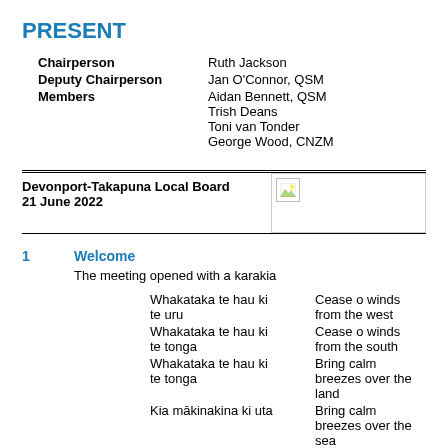PRESENT
| Role | Name |
| --- | --- |
| Chairperson | Ruth Jackson |
| Deputy Chairperson | Jan O'Connor, QSM |
| Members | Aidan Bennett, QSM
Trish Deans
Toni van Tonder
George Wood, CNZM |
Devonport-Takapuna Local Board
21 June 2022
[Figure (logo): Auckland Council logo placeholder image]
1    Welcome
The meeting opened with a karakia
Whakataka te hau ki te uru
Whakataka te hau ki te tonga
Kia mākinakina ki uta
Kia mātaratara ki tai
E hī ana ana...

Cease o winds from the west
Cease o winds from the south
Bring calm breezes over the land
Bring calm breezes over the sea
And let the red-tipped dawn...